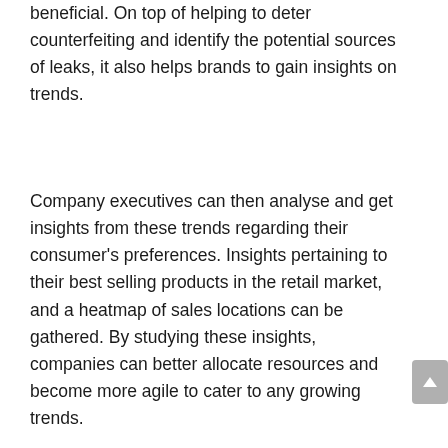beneficial. On top of helping to deter counterfeiting and identify the potential sources of leaks, it also helps brands to gain insights on trends.
Company executives can then analyse and get insights from these trends regarding their consumer's preferences. Insights pertaining to their best selling products in the retail market, and a heatmap of sales locations can be gathered. By studying these insights, companies can better allocate resources and become more agile to cater to any growing trends.